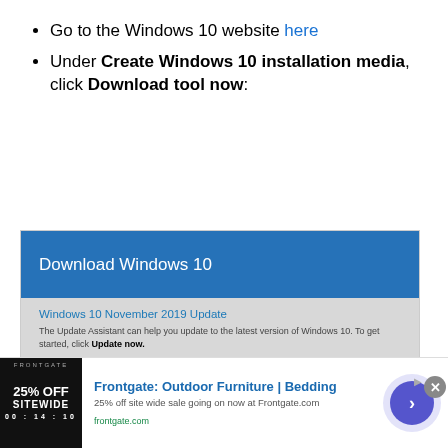Go to the Windows 10 website here
Under Create Windows 10 installation media, click Download tool now:
[Figure (screenshot): Screenshot of the Microsoft Download Windows 10 page showing a blue header with 'Download Windows 10', a grey body with 'Windows 10 November 2019 Update', description text, an 'Update now' button, and a Privacy link.]
[Figure (infographic): Advertisement banner for Frontgate: Outdoor Furniture | Bedding. Shows '25% OFF SITEWIDE' image on left, ad text '25% off site wide sale going on now at Frontgate.com' and 'frontgate.com' URL, close button, and navigation arrow circle on right.]